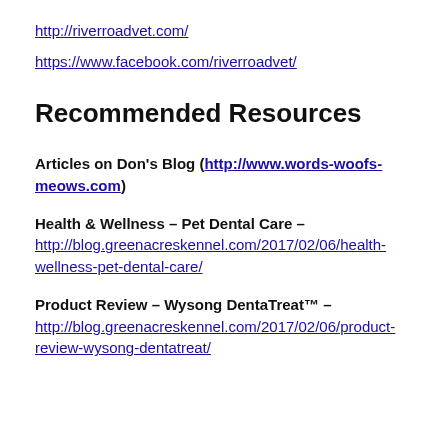http://riverroadvet.com/
https://www.facebook.com/riverroadvet/
Recommended Resources
Articles on Don's Blog (http://www.words-woofs-meows.com)
Health & Wellness – Pet Dental Care – http://blog.greenacreskennel.com/2017/02/06/health-wellness-pet-dental-care/
Product Review – Wysong DentaTreat™ – http://blog.greenacreskennel.com/2017/02/06/product-review-wysong-dentatreat/